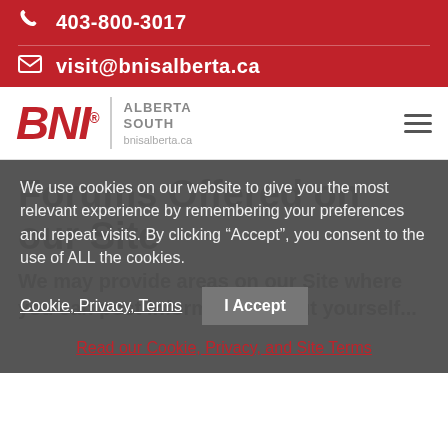403-800-3017
visit@bnisalberta.ca
[Figure (logo): BNI Alberta South logo with red italic BNI text, vertical divider, ALBERTA SOUTH text and bnisalberta.ca website]
Forums Offered on our Site
We may provide areas on our Site where you can post information about yourself...
We use cookies on our website to give you the most relevant experience by remembering your preferences and repeat visits. By clicking “Accept”, you consent to the use of ALL the cookies.
Cookie, Privacy, Terms
I Accept
Read our Cookie, Privacy, and Site Terms